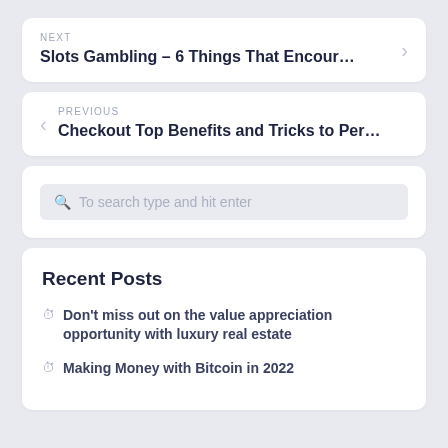NEXT
Slots Gambling – 6 Things That Encour…
PREVIOUS
Checkout Top Benefits and Tricks to Per…
[Figure (screenshot): Search bar with placeholder text 'To search type and hit enter']
Recent Posts
Don't miss out on the value appreciation opportunity with luxury real estate
Making Money with Bitcoin in 2022